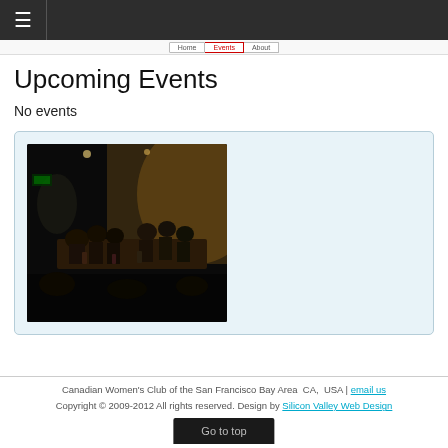≡  [navigation bar]
Upcoming Events
No events
[Figure (photo): Dark indoor restaurant photo showing people seated at a long table in a dimly lit dining room]
Canadian Women's Club of the San Francisco Bay Area  CA,  USA | email us
Copyright © 2009-2012 All rights reserved. Design by Silicon Valley Web Design
Go to top